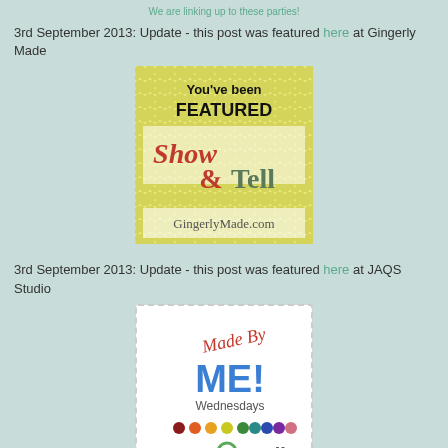We are linking up to these parties!
3rd September 2013: Update - this post was featured here at Gingerly Made
[Figure (logo): Gingerly Made Show & Tell featured badge with yellow chevron background]
3rd September 2013: Update - this post was featured here at JAQS Studio
[Figure (logo): JAQS Studio Made By ME! Wednesdays badge with colorful dots]